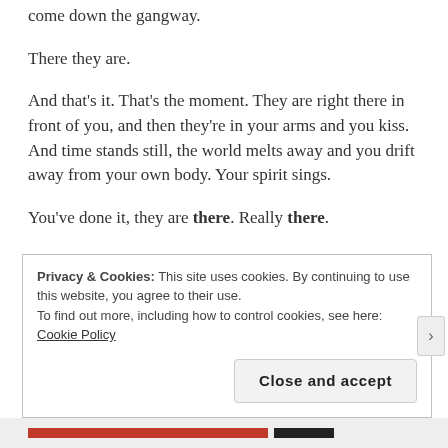come down the gangway.
There they are.
And that’s it. That’s the moment. They are right there in front of you, and then they’re in your arms and you kiss. And time stands still, the world melts away and you drift away from your own body. Your spirit sings.
You’ve done it, they are there. Really there.
Privacy & Cookies: This site uses cookies. By continuing to use this website, you agree to their use.
To find out more, including how to control cookies, see here: Cookie Policy